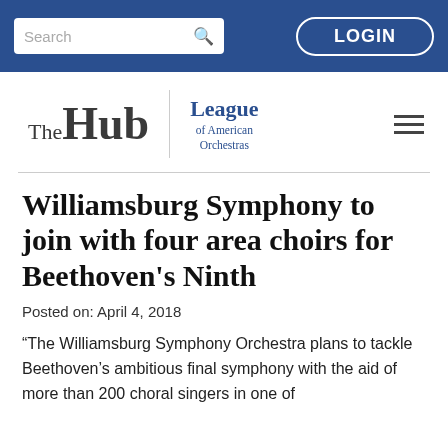Search | LOGIN
[Figure (logo): The Hub | League of American Orchestras logo with hamburger menu]
Williamsburg Symphony to join with four area choirs for Beethoven's Ninth
Posted on: April 4, 2018
“The Williamsburg Symphony Orchestra plans to tackle Beethoven’s ambitious final symphony with the aid of more than 200 choral singers in one of